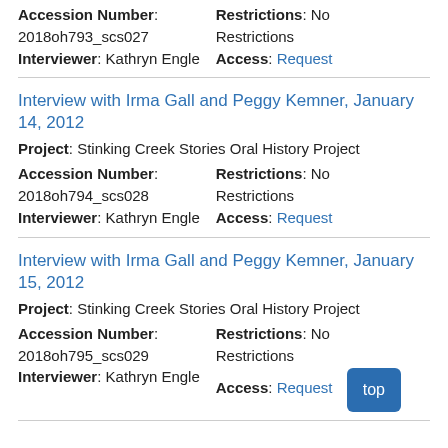Accession Number: 2018oh793_scs027
Interviewer: Kathryn Engle
Restrictions: No Restrictions
Access: Request
Interview with Irma Gall and Peggy Kemner, January 14, 2012
Project: Stinking Creek Stories Oral History Project
Accession Number: 2018oh794_scs028
Interviewer: Kathryn Engle
Restrictions: No Restrictions
Access: Request
Interview with Irma Gall and Peggy Kemner, January 15, 2012
Project: Stinking Creek Stories Oral History Project
Accession Number: 2018oh795_scs029
Interviewer: Kathryn Engle
Restrictions: No Restrictions
Access: Request